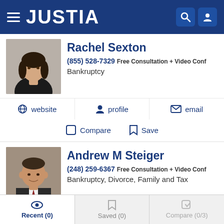JUSTIA
Rachel Sexton
(855) 528-7329 Free Consultation + Video Conf
Bankruptcy
website | profile | email
Compare | Save
Andrew M Steiger
(248) 259-6367 Free Consultation + Video Conf
Bankruptcy, Divorce, Family and Tax
website | profile | email
Compare | Save
Recent (0) | Saved (0) | Compare (0/3)